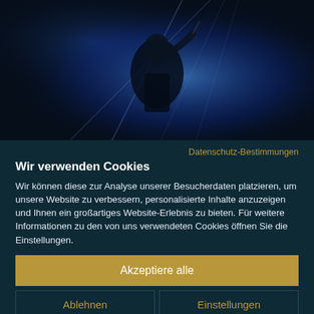[Figure (photo): Concert performer on stage bathed in blue spotlight, holding a microphone, shot from below with dramatic blue stage lighting and light beams in the background.]
Datenschutz-Bestimmungen
Wir verwenden Cookies
Wir können diese zur Analyse unserer Besucherdaten platzieren, um unsere Website zu verbessern, personalisierte Inhalte anzuzeigen und Ihnen ein großartiges Website-Erlebnis zu bieten. Für weitere Informationen zu den von uns verwendeten Cookies öffnen Sie die Einstellungen.
Akzeptiere alle
Ablehnen
Einstellungen